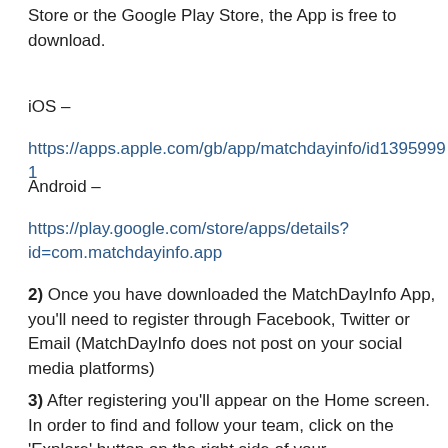Store or the Google Play Store, the App is free to download.
iOS – https://apps.apple.com/gb/app/matchdayinfo/id13959991…
Android – https://play.google.com/store/apps/details?id=com.matchdayinfo.app
2) Once you have downloaded the MatchDayInfo App, you'll need to register through Facebook, Twitter or Email (MatchDayInfo does not post on your social media platforms)
3) After registering you'll appear on the Home screen. In order to find and follow your team, click on the 'Explore' button on the right side of your